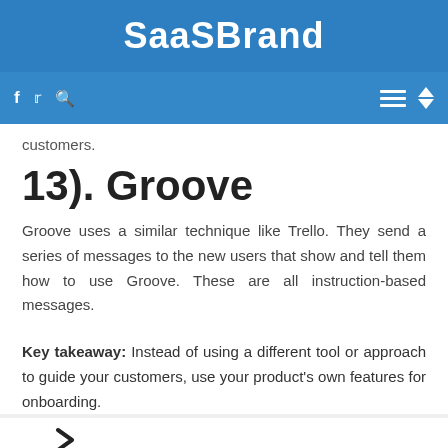SaaSBrand
customers.
13). Groove
Groove uses a similar technique like Trello. They send a series of messages to the new users that show and tell them how to use Groove. These are all instruction-based messages.
Key takeaway: Instead of using a different tool or approach to guide your customers, use your product's own features for onboarding.